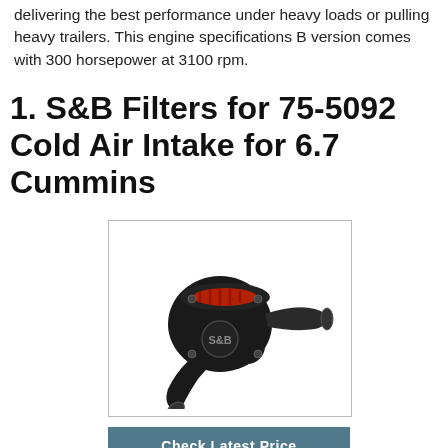delivering the best performance under heavy loads or pulling heavy trailers. This engine specifications B version comes with 300 horsepower at 3100 rpm.
1. S&B Filters for 75-5092 Cold Air Intake for 6.7 Cummins
[Figure (photo): S&B Filters 75-5092 Cold Air Intake product photo showing black intake housing with red filter element and intake tube]
Check Latest Price